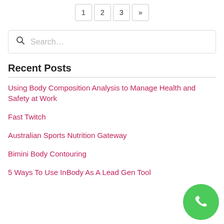1  2  3  »
Search…
Recent Posts
Using Body Composition Analysis to Manage Health and Safety at Work
Fast Twitch
Australian Sports Nutrition Gateway
Bimini Body Contouring
5 Ways To Use InBody As A Lead Gen Tool
[Figure (illustration): Green circular phone call button in bottom-right corner]